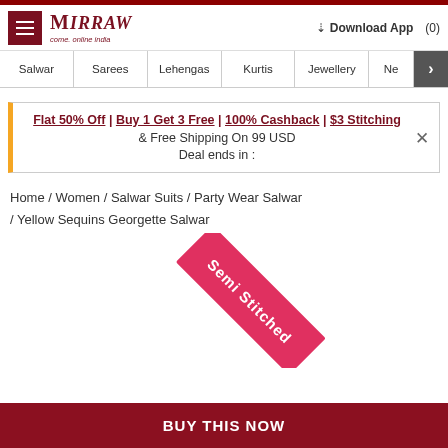Mirraw — come. online india
Salwar | Sarees | Lehengas | Kurtis | Jewellery | Ne >
Flat 50% Off | Buy 1 Get 3 Free | 100% Cashback | $3 Stitching & Free Shipping On 99 USD  Deal ends in :
Home / Women / Salwar Suits / Party Wear Salwar / Yellow Sequins Georgette Salwar
[Figure (illustration): Semi Stitched diagonal badge/ribbon in crimson/pink color with white text 'Semi Stitched']
BUY THIS NOW